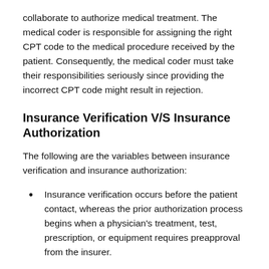collaborate to authorize medical treatment. The medical coder is responsible for assigning the right CPT code to the medical procedure received by the patient. Consequently, the medical coder must take their responsibilities seriously since providing the incorrect CPT code might result in rejection.
Insurance Verification V/S Insurance Authorization
The following are the variables between insurance verification and insurance authorization:
Insurance verification occurs before the patient contact, whereas the prior authorization process begins when a physician's treatment, test, prescription, or equipment requires preapproval from the insurer.